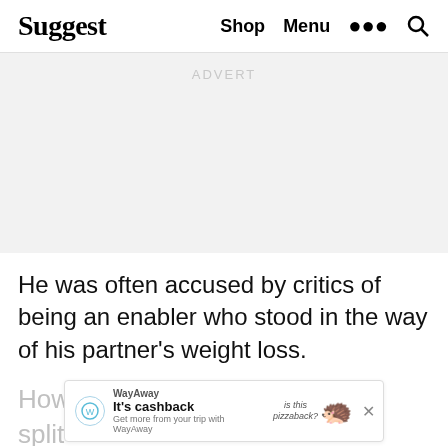Suggest  Shop  Menu
[Figure (other): Advertisement placeholder block with light gray background and faint 'ADVERT' watermark text]
He was often accused by critics of being an enabler who stood in the way of his partner's weight loss.
Howe          their split
[Figure (other): WayAway ad banner: 'It's cashback – Get more from your trip with WayAway' with pizza hedgehog illustration and close button]